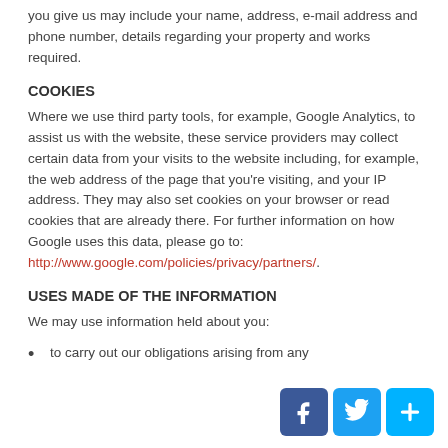you give us may include your name, address, e-mail address and phone number, details regarding your property and works required.
COOKIES
Where we use third party tools, for example, Google Analytics, to assist us with the website, these service providers may collect certain data from your visits to the website including, for example, the web address of the page that you're visiting, and your IP address. They may also set cookies on your browser or read cookies that are already there. For further information on how Google uses this data, please go to: http://www.google.com/policies/privacy/partners/.
USES MADE OF THE INFORMATION
We may use information held about you:
to carry out our obligations arising from any